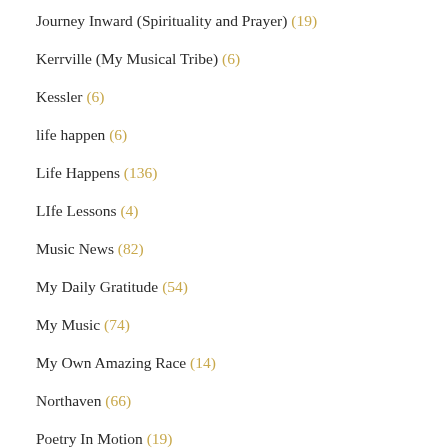Journey Inward (Spirituality and Prayer) (19)
Kerrville (My Musical Tribe) (6)
Kessler (6)
life happen (6)
Life Happens (136)
LIfe Lessons (4)
Music News (82)
My Daily Gratitude (54)
My Music (74)
My Own Amazing Race (14)
Northaven (66)
Poetry In Motion (19)